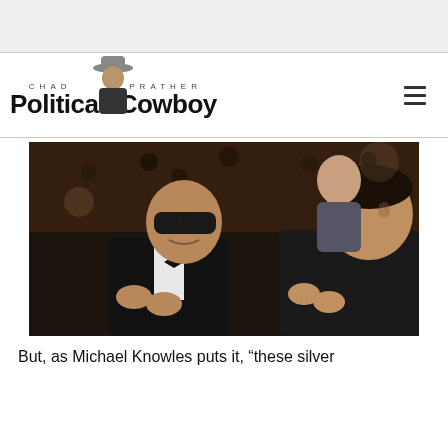Chad Prather Political Cowboy
[Figure (photo): Photograph of two men at what appears to be an awards ceremony. On the left is a man in a tuxedo with a bow tie wearing dark sunglasses, clapping. On the right is a dark-haired man in a black shirt also clapping. There are other people visible in the background in a large auditorium setting.]
But, as Michael Knowles puts it, “these silver